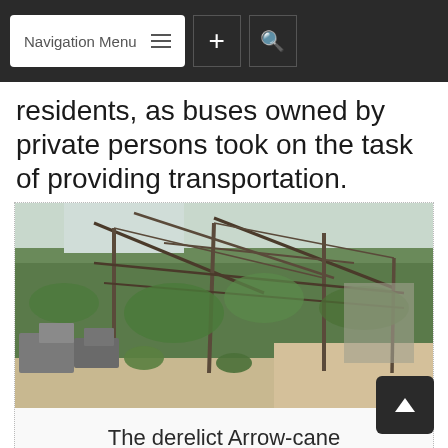Navigation Menu
residents, as buses owned by private persons took on the task of providing transportation.
[Figure (photo): Derelict Arrow-cane workshop near Coomacka — ruined metal-frame structure with vegetation growing through it, debris on sandy ground]
The derelict Arrow-cane workshop near Coomacka
[Figure (photo): Sandy mining or excavation site with orange and brown layered earth mounds under a cloudy sky]